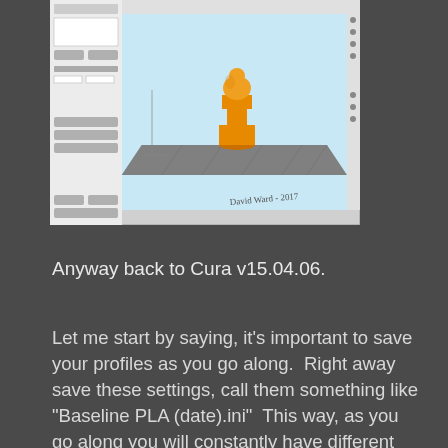[Figure (screenshot): Screenshot of Cura 3D printing slicing software showing a chess pawn model (orange) on a gray print bed, with a panel on the left showing print settings. A handwritten signature reads 'David Ward - 2017' in the bottom right of the image.]
Anyway back to Cura v15.04.06.
Let me start by saying, it's important to save your profiles as you go along.  Right away save these settings, call them something like "Baseline PLA (date).ini"  This way, as you go along you will constantly have different versions of settings.  So if you change something and it totally screws up, or prints really bad, you can go back and load up a